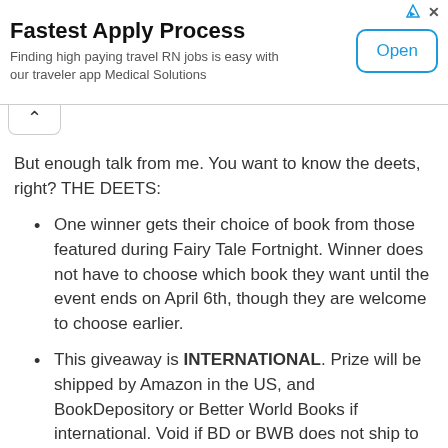[Figure (screenshot): Advertisement banner: 'Fastest Apply Process' with text 'Finding high paying travel RN jobs is easy with our traveler app Medical Solutions' and an 'Open' button]
But enough talk from me. You want to know the deets, right? THE DEETS:
One winner gets their choice of book from those featured during Fairy Tale Fortnight. Winner does not have to choose which book they want until the event ends on April 6th, though they are welcome to choose earlier.
This giveaway is INTERNATIONAL. Prize will be shipped by Amazon in the US, and BookDepository or Better World Books if international. Void if BD or BWB does not ship to your country, or you are legally prohibited from receiving things from them.
Fill out the Rafflecopter below to enter. Because we are going to have a lot of giveaways to keep track of